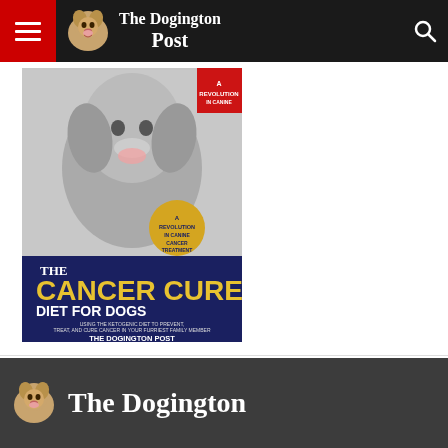The Dogington Post
[Figure (photo): Book cover for 'The Cancer Cure Diet for Dogs' by The Dogington Post, showing a golden retriever on the cover with navy blue lower panel and yellow title text]
The Dogington